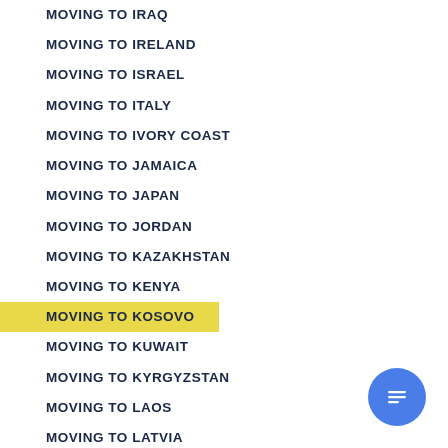MOVING TO IRAQ
MOVING TO IRELAND
MOVING TO ISRAEL
MOVING TO ITALY
MOVING TO IVORY COAST
MOVING TO JAMAICA
MOVING TO JAPAN
MOVING TO JORDAN
MOVING TO KAZAKHSTAN
MOVING TO KENYA
MOVING TO KOSOVO
MOVING TO KUWAIT
MOVING TO KYRGYZSTAN
MOVING TO LAOS
MOVING TO LATVIA
MOVING TO LEBANON
MOVING TO LESOTHO
MOVING TO LIBERIA
MOVING TO LIBYA